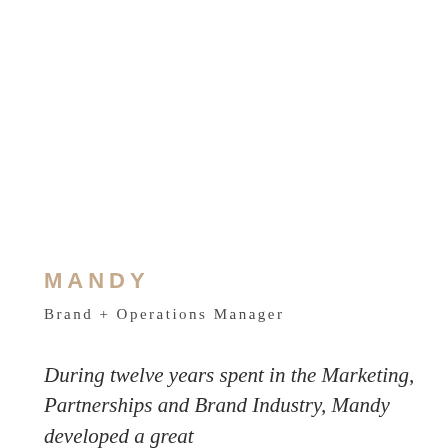MANDY
Brand + Operations Manager
During twelve years spent in the Marketing, Partnerships and Brand Industry, Mandy developed a great